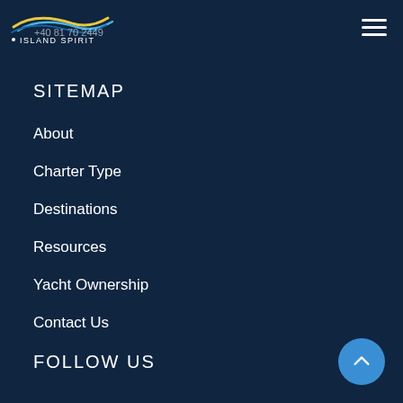Island Spirit | +40 81 70 2449
SITEMAP
About
Charter Type
Destinations
Resources
Yacht Ownership
Contact Us
FOLLOW US